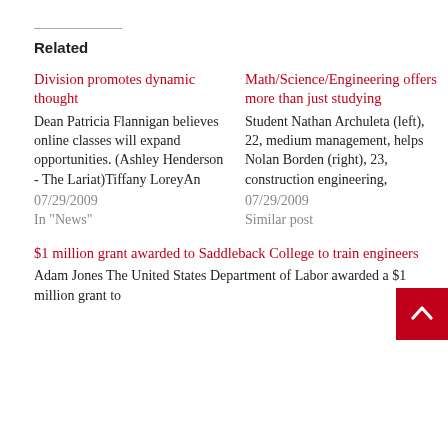Related
Division promotes dynamic thought
Dean Patricia Flannigan believes online classes will expand opportunities. (Ashley Henderson - The Lariat)Tiffany LoreyAn
07/29/2009
In "News"
Math/Science/Engineering offers more than just studying
Student Nathan Archuleta (left), 22, medium management, helps Nolan Borden (right), 23, construction engineering,
07/29/2009
Similar post
$1 million grant awarded to Saddleback College to train engineers
Adam Jones The United States Department of Labor awarded a $1 million grant to